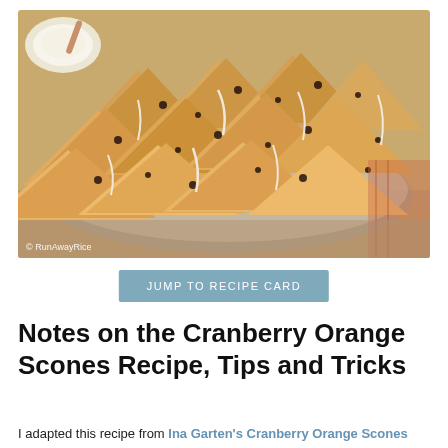[Figure (photo): A plate/basket filled with cranberry orange scones with white glaze drizzled on top, with a small bowl of cream in the background. Copyright watermark reads: © RunAwayRice]
JUMP TO RECIPE CARD
Notes on the Cranberry Orange Scones Recipe, Tips and Tricks
I adapted this recipe from Ina Garten's Cranberry Orange Scones